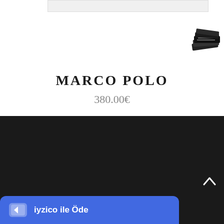[Figure (illustration): Stacked money/papers icon in top right corner]
MARCO POLO
380.00€
GENIUS COLLECTION
WHAT'S A GENIUS BOWTIE
PRESS
FAIR
[Figure (other): iyzico ile Öde payment button at bottom]